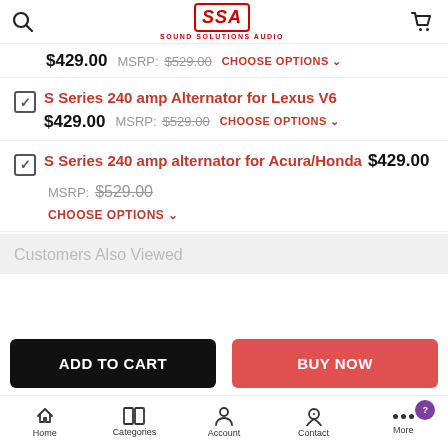[Figure (logo): SSA Sound Solutions Audio logo in red with border]
$429.00  MSRP: $529.00  CHOOSE OPTIONS
S Series 240 amp Alternator for Lexus V6
$429.00  MSRP: $529.00  CHOOSE OPTIONS
S Series 240 amp alternator for Acura/Honda  $429.00  MSRP: $529.00
CHOOSE OPTIONS
Customers Also Viewed
ADD TO CART
BUY NOW
Home  Categories  Account  Contact  More